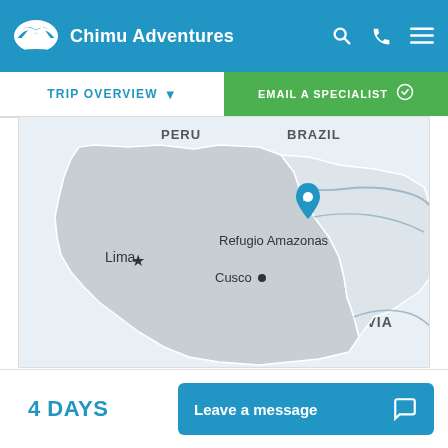Chimu Adventures
TRIP OVERVIEW
EMAIL A SPECIALIST
[Figure (map): Map showing South America with Peru, Brazil, and Bolivia labeled. Lima is marked with a star. Cusco is marked with a dot. Refugio Amazonas is marked with a blue location pin icon.]
4 DAYS
Leave a message